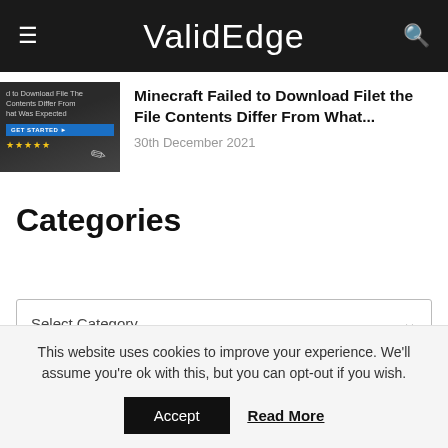ValidEdge
[Figure (photo): Thumbnail image showing a dark overlay with text 'to Download File The Contents Differ From What Was Expected', a blue GET STARTED button, star rating, and a pencil on a notebook]
Minecraft Failed to Download Filet the File Contents Differ From What...
30th December 2021
Categories
Select Category
This website uses cookies to improve your experience. We'll assume you're ok with this, but you can opt-out if you wish.
Accept
Read More